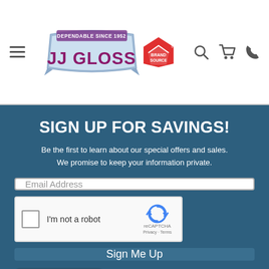[Figure (logo): JJ Gloss logo with text 'Dependable Since 1952' and Brand Source logo]
SIGN UP FOR SAVINGS!
Be the first to learn about our special offers and sales. We promise to keep your information private.
Email Address
[Figure (screenshot): reCAPTCHA widget with checkbox 'I'm not a robot']
Sign Me Up
FILTER & SORT